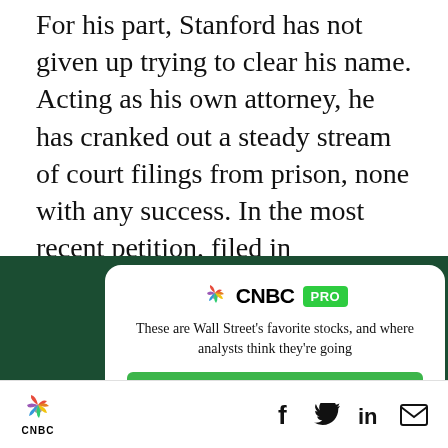For his part, Stanford has not given up trying to clear his name. Acting as his own attorney, he has cranked out a steady stream of court filings from prison, none with any success. In the most recent petition, filed in December, Stanford demands to be allowed to question Special Counsel Robert Mueller, who was FBI director during Stanford's prosecution, over alleged mishandling of
[Figure (screenshot): CNBC PRO advertisement overlay on dark green background. White rounded card showing CNBC PRO logo with peacock icon, headline 'These are Wall Street's favorite stocks, and where analysts think they're going', and a green SUBSCRIBE NOW button. An X close button appears top right on the dark background.]
[Figure (logo): CNBC logo with peacock icon in bottom navigation bar. Social media icons for Facebook, Twitter, LinkedIn, and email also visible.]